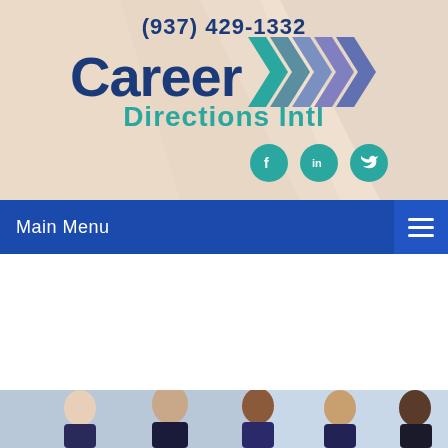[Figure (logo): Career Directions Intl logo with phone number (937) 429-1332, arrow chevron marks, and social media icons for Facebook, LinkedIn, and Twitter]
Main Menu
Your Career Success is My Business
[Figure (photo): Group of five smiling business professionals]